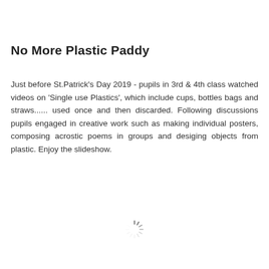No More Plastic Paddy
Just before St.Patrick's Day 2019 - pupils in 3rd & 4th class watched videos on 'Single use Plastics', which include cups, bottles bags and straws...... used once and then discarded. Following discussions pupils engaged in creative work such as making individual posters, composing acrostic poems in groups and desiging objects from plastic. Enjoy the slideshow.
[Figure (other): Loading spinner icon]